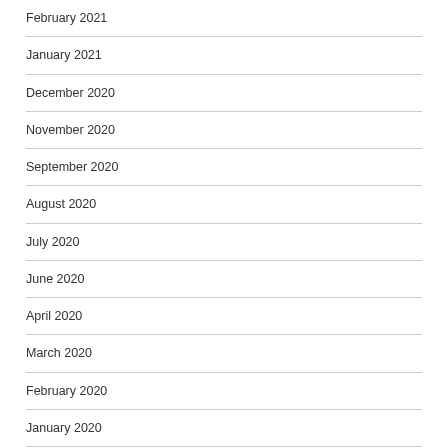February 2021
January 2021
December 2020
November 2020
September 2020
August 2020
July 2020
June 2020
April 2020
March 2020
February 2020
January 2020
November 2019